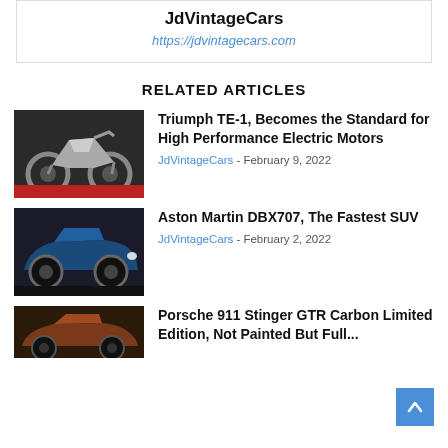JdVintageCars
https://jdvintagecars.com
RELATED ARTICLES
[Figure (photo): Electric motorcycle (Triumph TE-1) in dark setting]
Triumph TE-1, Becomes the Standard for High Performance Electric Motors
JdVintageCars - February 9, 2022
[Figure (photo): Blue Aston Martin DBX707 SUV]
Aston Martin DBX707, The Fastest SUV
JdVintageCars - February 2, 2022
[Figure (photo): Brown/copper Porsche 911 Stinger GTR Carbon Limited Edition]
Porsche 911 Stinger GTR Carbon Limited Edition, Not Painted But Full...